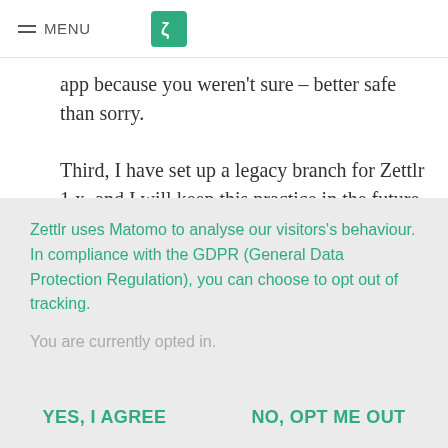MENU
app because you weren't sure – better safe than sorry.
Third, I have set up a legacy branch for Zettlr 1.x, and I will keep this practice in the future. So whenever a new version is released, I will keep a legacy branch of the latest released Zettlr version to quickly implement security
Zettlr uses Matomo to analyse our visitors's behaviour. In compliance with the GDPR (General Data Protection Regulation), you can choose to opt out of tracking.
You are currently opted in.
YES, I AGREE
NO, OPT ME OUT